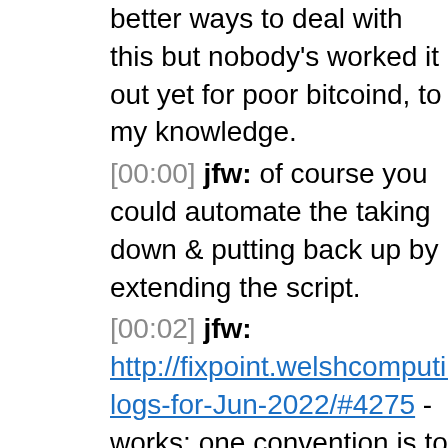better ways to deal with this but nobody's worked it out yet for poor bitcoind, to my knowledge.
[00:00] jfw: of course you could automate the taking down & putting back up by extending the script.
[00:02] jfw: http://fixpoint.welshcomputing.com/2022/jwrd-logs-for-Jun-2022/#4275 - works; one convention is to use a ".sh" extension for shell scripts.
[00:02] sourcerer: 2022-06-05 14:39:03 (line)